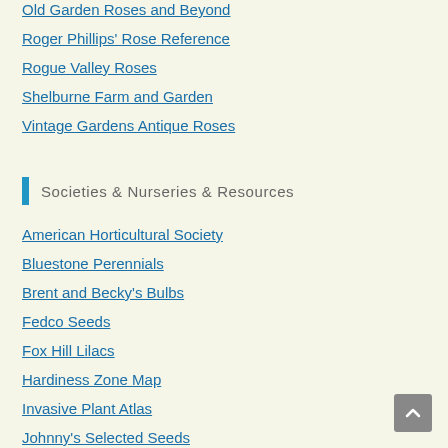Old Garden Roses and Beyond
Roger Phillips' Rose Reference
Rogue Valley Roses
Shelburne Farm and Garden
Vintage Gardens Antique Roses
Societies & Nurseries & Resources
American Horticultural Society
Bluestone Perennials
Brent and Becky's Bulbs
Fedco Seeds
Fox Hill Lilacs
Hardiness Zone Map
Invasive Plant Atlas
Johnny's Selected Seeds
Massachusettss Horticultural Society
New England Wildflower Society
Nourse Farms
Old House Gardens